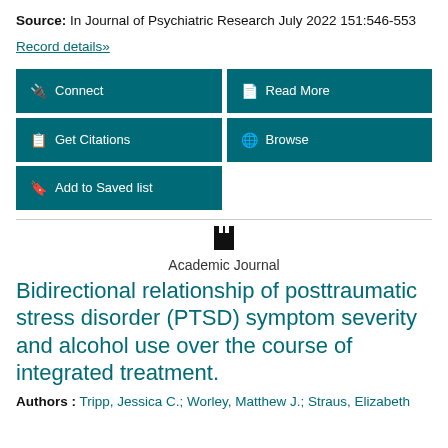Source: In Journal of Psychiatric Research July 2022 151:546-553
Record details»
Connect | Read More | Get Citations | Browse | Add to Saved list
Academic Journal
Bidirectional relationship of posttraumatic stress disorder (PTSD) symptom severity and alcohol use over the course of integrated treatment.
Authors : Tripp, Jessica C.; Worley, Matthew J.; Straus, Elizabeth